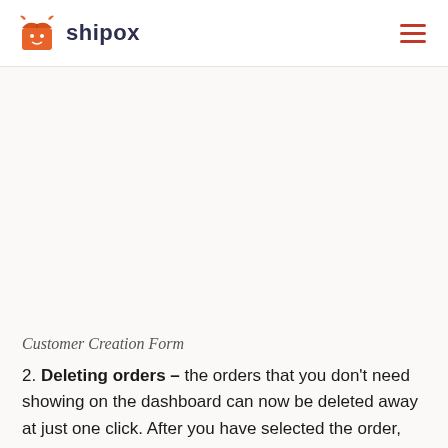shipox
Customer Creation Form
2. Deleting orders – the orders that you don't need showing on the dashboard can now be deleted away at just one click. After you have selected the order, navigate to the three dots icon and find the option –